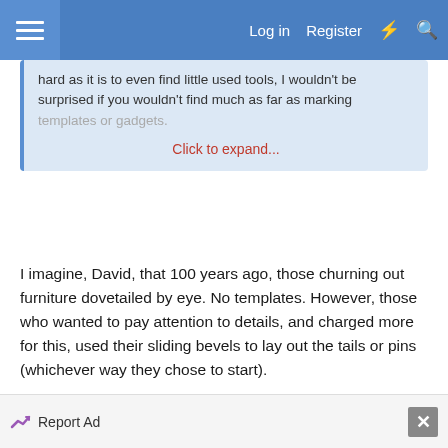Log in  Register
hard as it is to even find little used tools, I wouldn't be surprised if you wouldn't find much as far as marking templates or gadgets.

Click to expand...
I imagine, David, that 100 years ago, those churning out furniture dovetailed by eye. No templates. However, those who wanted to pay attention to details, and charged more for this, used their sliding bevels to lay out the tails or pins (whichever way they chose to start).

Regards from Perth
Report Ad